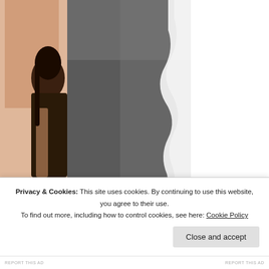[Figure (photo): Dark gray torn paper background image on the left two-thirds of the page]
[Figure (photo): Right panel showing a person with long dark hair seated, with a salmon/terracotta background, partially cropped]
Watch on
Behind the odd name
Privacy & Cookies: This site uses cookies. By continuing to use this website, you agree to their use.
To find out more, including how to control cookies, see here: Cookie Policy
Close and accept
REPORT THIS AD    REPORT THIS AD